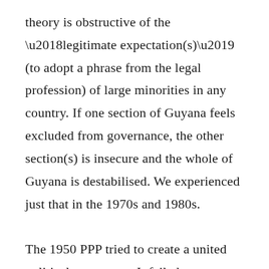theory is obstructive of the ‘legitimate expectation(s)’ (to adopt a phrase from the legal profession) of large minorities in any country. If one section of Guyana feels excluded from governance, the other section(s) is insecure and the whole of Guyana is destabilised. We experienced just that in the 1970s and 1980s.

The 1950 PPP tried to create a united political movement. It failed. Jagan’s proposal of a